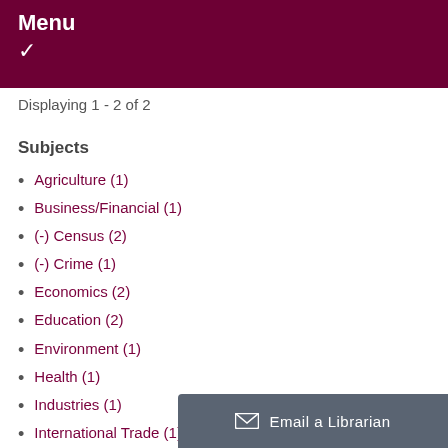Menu ✓
Displaying 1 - 2 of 2
Subjects
Agriculture (1)
Business/Financial (1)
(-) Census (2)
(-) Crime (1)
Economics (2)
Education (2)
Environment (1)
Health (1)
Industries (1)
International Trade (1)
Labour (2)
Languages (2)
(-) Political Science (1)
Population and Demo…
Email a Librarian